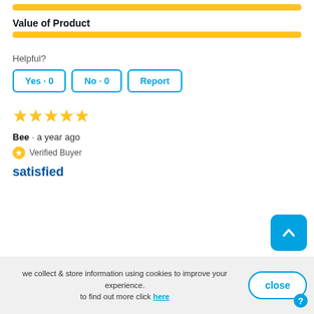Value of Product
[Figure (other): Yellow rating bar for Value of Product, full width]
Helpful?
Yes · 0   No · 0   Report
[Figure (other): 5 gold stars rating]
Bee · a year ago
Verified Buyer
satisfied
we collect & store information using cookies to improve your experience. to find out more click here